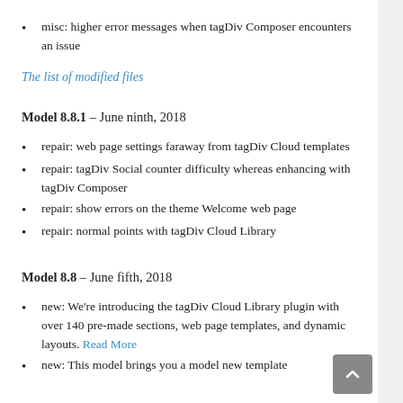misc: higher error messages when tagDiv Composer encounters an issue
The list of modified files
Model 8.8.1 – June ninth, 2018
repair: web page settings faraway from tagDiv Cloud templates
repair: tagDiv Social counter difficulty whereas enhancing with tagDiv Composer
repair: show errors on the theme Welcome web page
repair: normal points with tagDiv Cloud Library
Model 8.8 – June fifth, 2018
new: We're introducing the tagDiv Cloud Library plugin with over 140 pre-made sections, web page templates, and dynamic layouts. Read More
new: This model brings you a model new template